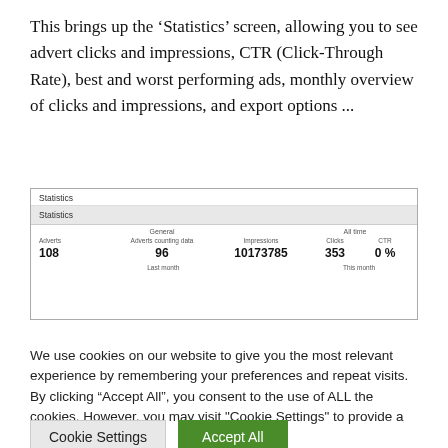This brings up the ‘Statistics’ screen, allowing you to see advert clicks and impressions, CTR (Click-Through Rate), best and worst performing ads, monthly overview of clicks and impressions, and export options ...
[Figure (screenshot): Screenshot of a Statistics screen showing: Adverts: 108, Adverts counting data: 96, Impressions: 10173785, Clicks: 353, CTR: 0%]
We use cookies on our website to give you the most relevant experience by remembering your preferences and repeat visits. By clicking “Accept All”, you consent to the use of ALL the cookies. However, you may visit "Cookie Settings" to provide a controlled consent.